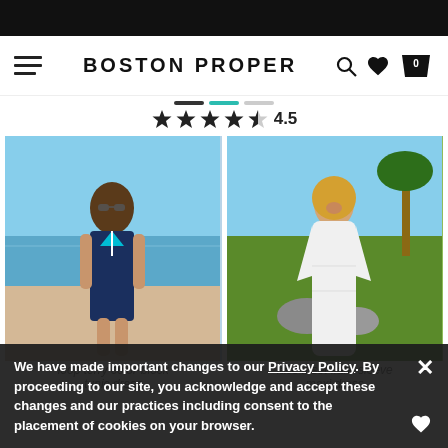BOSTON PROPER
4.5 stars rating
[Figure (photo): Woman wearing a navy blue sleeveless color-block tunic dress at the beach]
[Figure (photo): Woman wearing a white lace inset flare-sleeve maxi dress outdoors near palm trees]
loop terry color-block tunic dress
lace inset flare-sleeve maxi dress
We have made important changes to our Privacy Policy. By proceeding to our site, you acknowledge and accept these changes and our practices including consent to the placement of cookies on your browser.